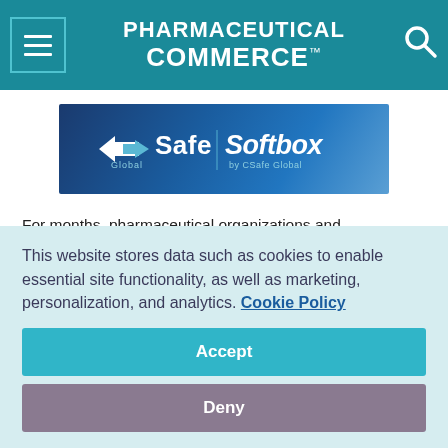PHARMACEUTICAL COMMERCE
[Figure (logo): CSafe Global and Softbox by CSafe Global logo on a blue gradient banner]
For months, pharmaceutical organizations and researchers worldwide have been focused on developing a vaccine for Covid-19. "Operation Warp Speed" (OWS), a collaboration among several U.S. governmental departments and 18 biopharmaceutical companies, was created to accelerate the development of a Covid-19 vaccine.
This website stores data such as cookies to enable essential site functionality, as well as marketing, personalization, and analytics. Cookie Policy
Accept
Deny